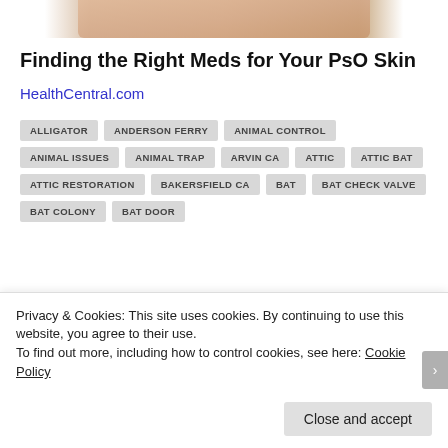[Figure (photo): Top portion of a photo showing hands or skin, partially cropped at top of page]
Finding the Right Meds for Your PsO Skin
HealthCentral.com
ALLIGATOR
ANDERSON FERRY
ANIMAL CONTROL
ANIMAL ISSUES
ANIMAL TRAP
ARVIN CA
ATTIC
ATTIC BAT
ATTIC RESTORATION
BAKERSFIELD CA
BAT
BAT CHECK VALVE
BAT COLONY
BAT DOOR
Privacy & Cookies: This site uses cookies. By continuing to use this website, you agree to their use.
To find out more, including how to control cookies, see here: Cookie Policy